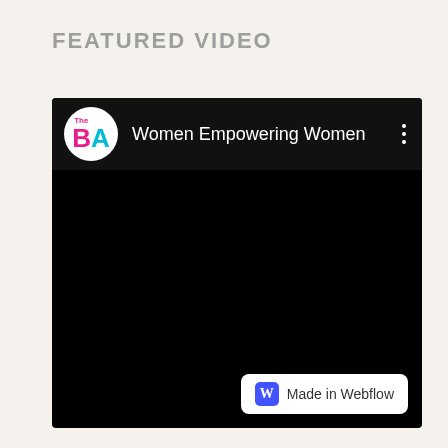FEATURED VIDEO
[Figure (screenshot): Embedded YouTube-style video player with black background. Header shows a circular logo with 'The BA' text (B in pink, A in cyan), the title 'Women Empowering Women' in white, and a three-dot menu icon. A 'Made in Webflow' badge appears in the bottom-right corner.]